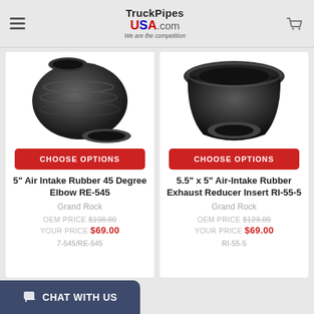TruckPipesUSA.com — We are the competition
[Figure (photo): 5 inch air intake rubber 45 degree elbow RE-545 product photo showing dark gray rubber elbow pipe fitting]
CHOOSE OPTIONS
5" Air Intake Rubber 45 Degree Elbow RE-545
Grand Rock
OEM PRICE $108.00
YOUR PRICE $69.00
7-545/RE-545
[Figure (photo): 5.5 x 5 inch air-intake rubber exhaust reducer insert RI-55-5 product photo showing dark gray rubber reducer fitting]
CHOOSE OPTIONS
5.5" x 5" Air-Intake Rubber Exhaust Reducer Insert RI-55-5
Grand Rock
OEM PRICE $123.00
YOUR PRICE $69.00
RI-55-5
CHAT WITH US